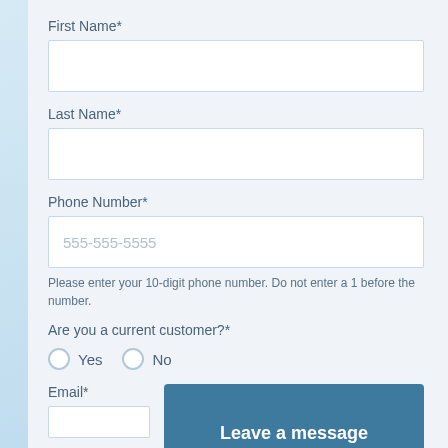First Name*
Last Name*
Phone Number*
555-555-5555
Please enter your 10-digit phone number. Do not enter a 1 before the number.
Are you a current customer?*
Yes
No
Email*
Leave a message